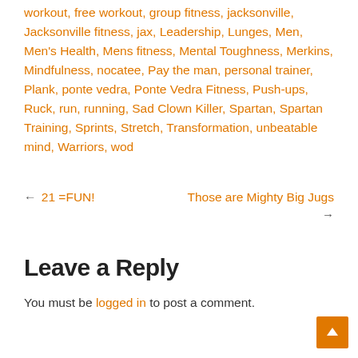workout, free workout, group fitness, jacksonville, Jacksonville fitness, jax, Leadership, Lunges, Men, Men's Health, Mens fitness, Mental Toughness, Merkins, Mindfulness, nocatee, Pay the man, personal trainer, Plank, ponte vedra, Ponte Vedra Fitness, Push-ups, Ruck, run, running, Sad Clown Killer, Spartan, Spartan Training, Sprints, Stretch, Transformation, unbeatable mind, Warriors, wod
← 21 =FUN!
Those are Mighty Big Jugs →
Leave a Reply
You must be logged in to post a comment.